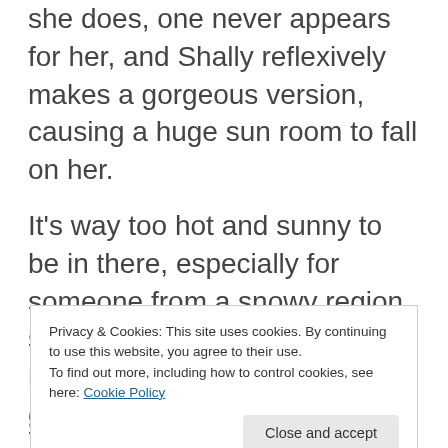she does, one never appears for her, and Shally reflexively makes a gorgeous version, causing a huge sun room to fall on her.
It’s way too hot and sunny to be in there, especially for someone from a snowy region, so Mai summons (again, merely verbally) a coral reef…oh excuse me, a SEA coral reef. As opposed to all those land coral reefs. Shally, again, makes it
Privacy & Cookies: This site uses cookies. By continuing to use this website, you agree to their use.
To find out more, including how to control cookies, see here: Cookie Policy
some watermelon while we get our